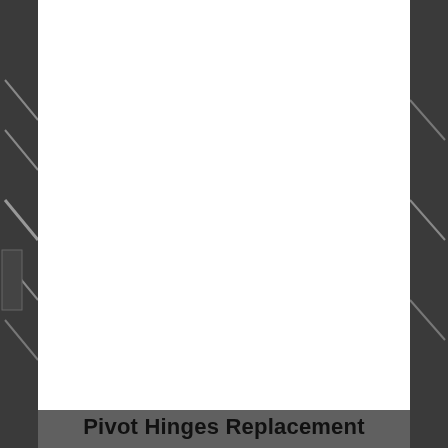[Figure (photo): Background photograph showing industrial or architectural metalwork/hinges, rendered in grayscale. A white rectangular panel overlays the center-left portion of the image, obscuring most of the photo content.]
Pivot Hinges Replacement